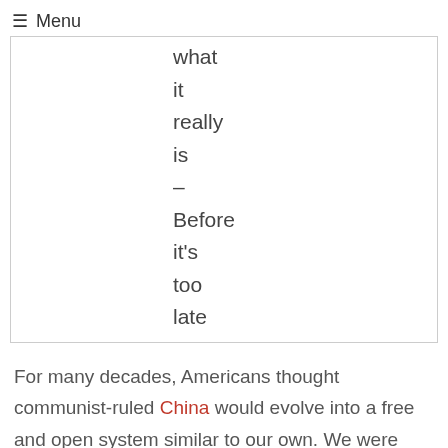≡ Menu
what
it
really
is
–
Before
it's
too
late
For many decades, Americans thought communist-ruled China would evolve into a free and open system similar to our own. We were completely wrong.
In truth, Xi Jinping became the general secretary of the People's Republic of China and chairman of the